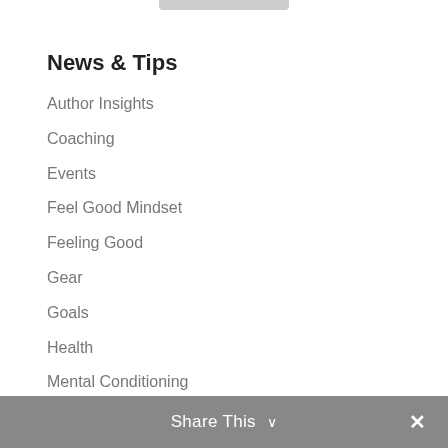News & Tips
Author Insights
Coaching
Events
Feel Good Mindset
Feeling Good
Gear
Goals
Health
Mental Conditioning
Motivation
Nutrition
Success Story
Share This ∨  ✕